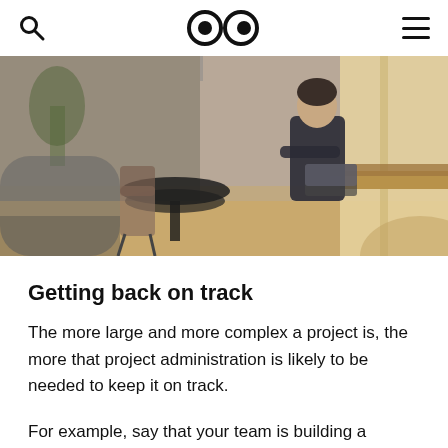[search icon] [logo: two eyes] [menu icon]
[Figure (photo): Office lounge area with a person sitting on a bench by a window, working on a laptop. Wooden tables, chairs, plants visible in a modern co-working space.]
Getting back on track
The more large and more complex a project is, the more that project administration is likely to be needed to keep it on track.
For example, say that your team is building a